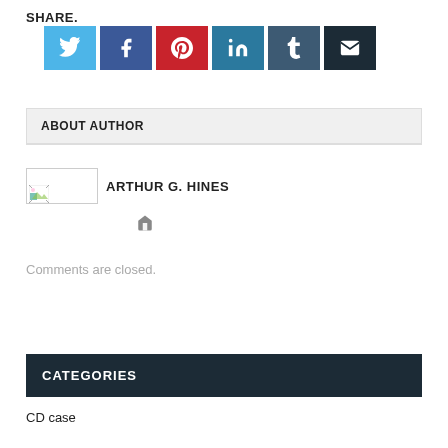SHARE.
[Figure (other): Social sharing icons: Twitter (blue), Facebook (dark blue), Pinterest (red), LinkedIn (blue), Tumblr (dark blue-grey), Email (dark)]
ABOUT AUTHOR
[Figure (photo): Author photo placeholder with broken image icon]
ARTHUR G. HINES
[Figure (other): Home icon link]
Comments are closed.
CATEGORIES
CD case